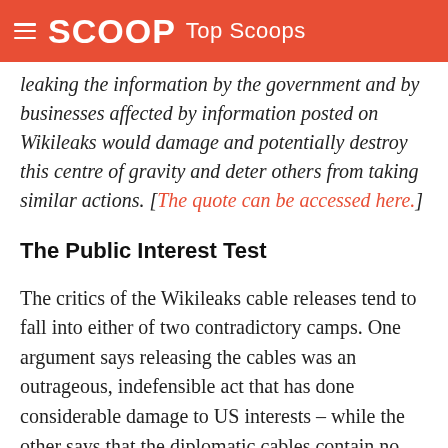SCOOP Top Scoops
leaking the information by the government and by businesses affected by information posted on Wikileaks would damage and potentially destroy this centre of gravity and deter others from taking similar actions. [The quote can be accessed here.]
The Public Interest Test
The critics of the Wikileaks cable releases tend to fall into either of two contradictory camps. One argument says releasing the cables was an outrageous, indefensible act that has done considerable damage to US interests – while the other says that the diplomatic cables contain no evidence of wrong-doing and only